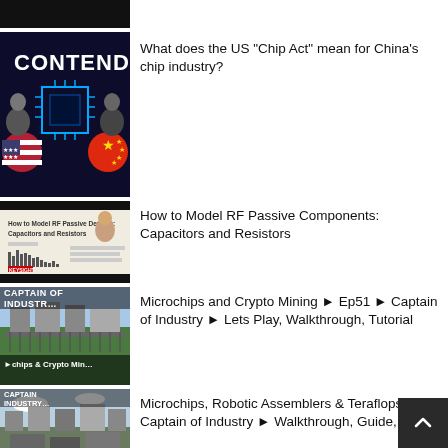[Figure (screenshot): Partial thumbnail of a video at top of page, dark bar]
[Figure (screenshot): Thumbnail showing 'CONTEND' text with US and China flags and microchip graphic - Chip Act video]
What does the US “Chip Act” mean for China’s chip industry?
[Figure (screenshot): Thumbnail for RF Passive Components video with black bars top and bottom, slide presentation style]
How to Model RF Passive Components: Capacitors and Resistors
[Figure (screenshot): Captain of Industry game thumbnail showing industrial facility with text 'Microchips & Crypto Mining']
Microchips and Crypto Mining ► Ep51 ► Captain of Industry ► Lets Play, Walkthrough, Tutorial
[Figure (screenshot): Captain of Industry game thumbnail with text 'How To Microchips & Tflops']
Microchips, Robotic Assemblers & Teraflops ► Captain of Industry ► Walkthrough, Guide, Tips